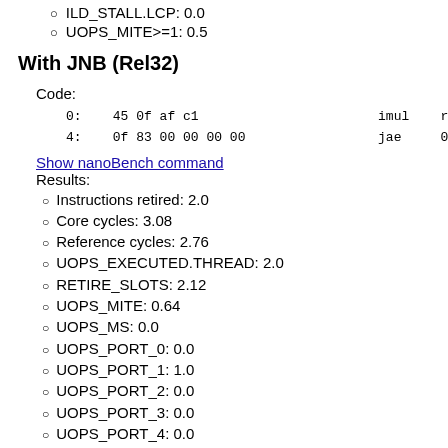ILD_STALL.LCP: 0.0
UOPS_MITE>=1: 0.5
With JNB (Rel32)
Code:
0:    45 0f af c1                       imul   r8d,r9d
4:    0f 83 00 00 00 00                 jae    0xa
Show nanoBench command
Results:
Instructions retired: 2.0
Core cycles: 3.08
Reference cycles: 2.76
UOPS_EXECUTED.THREAD: 2.0
RETIRE_SLOTS: 2.12
UOPS_MITE: 0.64
UOPS_MS: 0.0
UOPS_PORT_0: 0.0
UOPS_PORT_1: 1.0
UOPS_PORT_2: 0.0
UOPS_PORT_3: 0.0
UOPS_PORT_4: 0.0
UOPS_PORT_5: 0.0